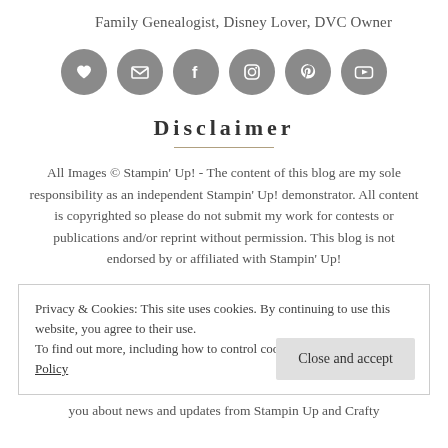Family Genealogist, Disney Lover, DVC Owner
[Figure (infographic): Row of six gray circular social media icon buttons: heart, email, Facebook, Instagram, Pinterest, YouTube]
Disclaimer
All Images © Stampin' Up! - The content of this blog are my sole responsibility as an independent Stampin' Up! demonstrator. All content is copyrighted so please do not submit my work for contests or publications and/or reprint without permission. This blog is not endorsed by or affiliated with Stampin' Up!
Privacy & Cookies: This site uses cookies. By continuing to use this website, you agree to their use.
To find out more, including how to control cookies, see here: Cookie Policy
you about news and updates from Stampin Up and Crafty